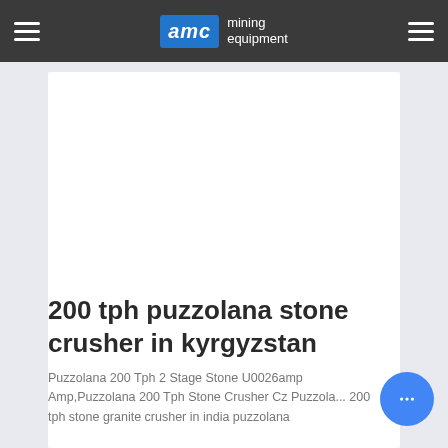AMC mining equipment
[Figure (other): White rectangular content placeholder area on a light blue-gray background]
200 tph puzzolana stone crusher in kyrgyzstan
Puzzolana 200 Tph 2 Stage Stone U0026amp Amp,Puzzolana 200 Tph Stone Crusher Cz Puzzolana 200 tph stone granite crusher in india puzzolana